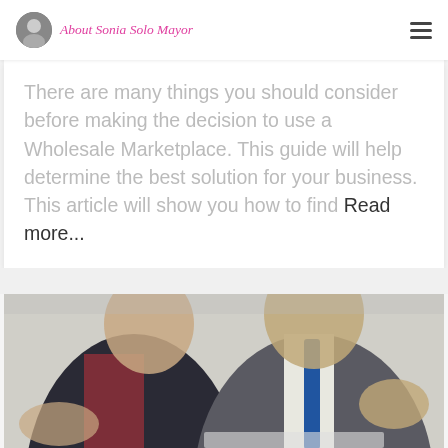About Sonia Solo Mayor
There are many things you should consider before making the decision to use a Wholesale Marketplace. This guide will help determine the best solution for your business. This article will show you how to find Read more...
[Figure (photo): Two businessmen in suits having a meeting or discussion, one gesturing with hands, partial view cropped at top of page bottom]